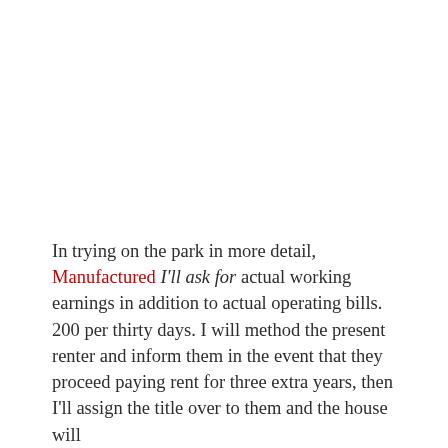In trying on the park in more detail, Manufactured I'll ask for actual working earnings in addition to actual operating bills. 200 per thirty days. I will method the present renter and inform them in the event that they proceed paying rent for three extra years, then I'll assign the title over to them and the house will